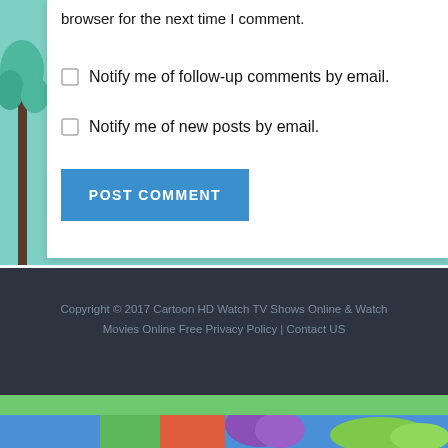browser for the next time I comment.
Notify me of follow-up comments by email.
Notify me of new posts by email.
POST COMMENT
Copyright © 2017 Cartoon HD Watch TV Shows Online & Watch Movies Online Free Privacy Policy | Contact US